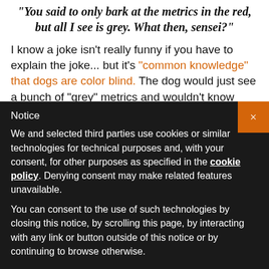"You said to only bark at the metrics in the red, but all I see is grey. What then, sensei?"
I know a joke isn't really funny if you have to explain the joke... but it's "common knowledge" that dogs are color blind. The dog would just see a bunch of “grey” metrics and wouldn’t know how to react.
Notice
We and selected third parties use cookies or similar technologies for technical purposes and, with your consent, for other purposes as specified in the cookie policy. Denying consent may make related features unavailable.
You can consent to the use of such technologies by closing this notice, by scrolling this page, by interacting with any link or button outside of this notice or by continuing to browse otherwise.